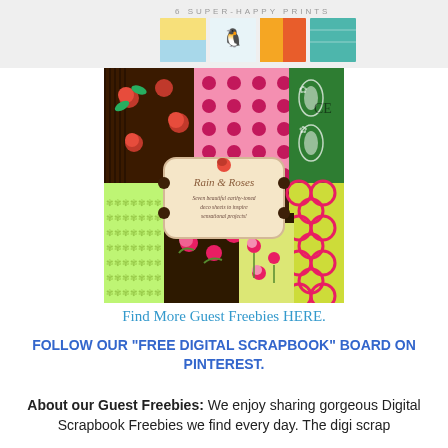[Figure (illustration): Top banner showing colorful print swatches with text '6 SUPER-HAPPY PRINTS']
[Figure (photo): Product image of 'Rain & Roses' scrapbook paper pack showing various floral and patterned papers including roses, polka dots, lace, and geometric patterns. Center label reads 'Rain & Roses - Seven beautiful earthy-toned deco sheets to inspire sensational projects!']
Find More Guest Freebies HERE.
FOLLOW OUR "FREE DIGITAL SCRAPBOOK" BOARD ON PINTEREST.
About our Guest Freebies:  We enjoy sharing gorgeous Digital Scrapbook Freebies we find every day. The digi scrap world is daily becoming more amazing and diverse. The